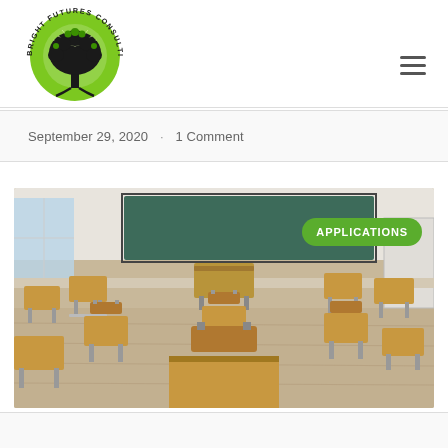[Figure (logo): Bright Futures Consulting logo — circular green emblem with a tree silhouette and radiating light, text around the circle reads BRIGHT FUTURES CONSULTING]
September 29, 2020  ·  1 Comment
[Figure (photo): Empty classroom with wooden student desks and chairs arranged on a light hardwood floor, green chalkboard visible in the background. A green rounded-rectangle badge reading APPLICATIONS is overlaid in the upper right.]
APPLICATIONS